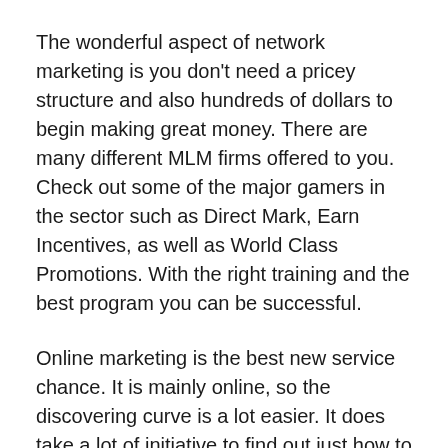The wonderful aspect of network marketing is you don't need a pricey structure and also hundreds of dollars to begin making great money. There are many different MLM firms offered to you. Check out some of the major gamers in the sector such as Direct Mark, Earn Incentives, as well as World Class Promotions. With the right training and the best program you can be successful.
Online marketing is the best new service chance. It is mainly online, so the discovering curve is a lot easier. It does take a lot of initiative to find out just how to set up your own blog site, internet site, as well as MySpace or Facebook page. As soon as you have those points in location it is